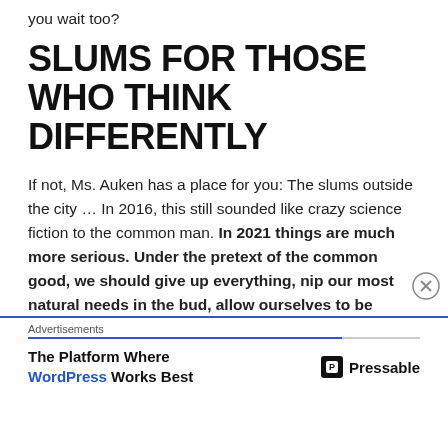you wait too?
SLUMS FOR THOSE WHO THINK DIFFERENTLY
If not, Ms. Auken has a place for you: The slums outside the city … In 2016, this still sounded like crazy science fiction to the common man. In 2021 things are much more serious. Under the pretext of the common good, we should give up everything, nip our most natural needs in the bud, allow ourselves to be monitored and controlled, and sacrifice fundamental rights and self-determination. Mobility is being
[Figure (other): Advertisement banner: 'The Platform Where WordPress Works Best' with Pressable logo]